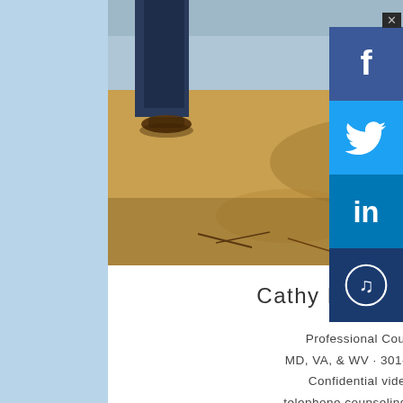[Figure (photo): Photo showing two people's feet and lower legs standing on a sandy beach with water in the background. One person wears sandals, the other flip-flops. The sand is golden-brown.]
Cathy Roberts, LCPC
Professional Counselor
MD, VA, & WV · 301-651-0019
Confidential video and telephone counseling available to residents of Maryland, Virginia,